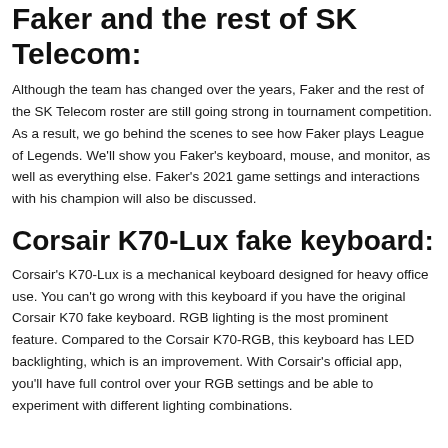Faker and the rest of SK Telecom:
Although the team has changed over the years, Faker and the rest of the SK Telecom roster are still going strong in tournament competition. As a result, we go behind the scenes to see how Faker plays League of Legends. We'll show you Faker's keyboard, mouse, and monitor, as well as everything else. Faker's 2021 game settings and interactions with his champion will also be discussed.
Corsair K70-Lux fake keyboard:
Corsair's K70-Lux is a mechanical keyboard designed for heavy office use. You can't go wrong with this keyboard if you have the original Corsair K70 fake keyboard. RGB lighting is the most prominent feature. Compared to the Corsair K70-RGB, this keyboard has LED backlighting, which is an improvement. With Corsair's official app, you'll have full control over your RGB settings and be able to experiment with different lighting combinations.